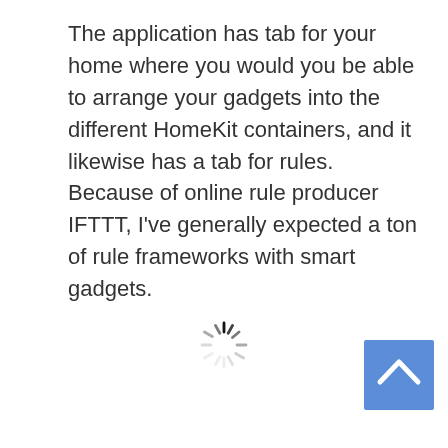The application has tab for your home where you would you be able to arrange your gadgets into the different HomeKit containers, and it likewise has a tab for rules. Because of online rule producer IFTTT, I've generally expected a ton of rule frameworks with smart gadgets.
[Figure (other): A loading spinner icon (circular arrangement of short radial lines) centered on the page]
[Figure (other): A blue square button with a white upward-pointing chevron/caret arrow, positioned at bottom right]